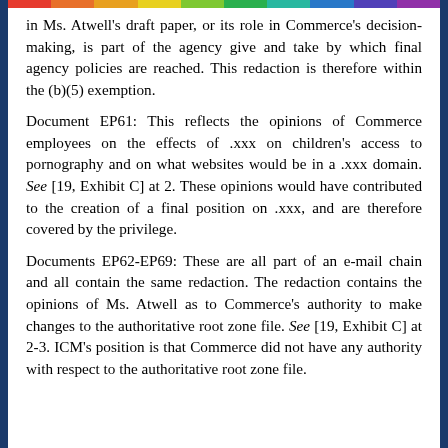in Ms. Atwell's draft paper, or its role in Commerce's decision-making, is part of the agency give and take by which final agency policies are reached. This redaction is therefore within the (b)(5) exemption.
Document EP61: This reflects the opinions of Commerce employees on the effects of .xxx on children's access to pornography and on what websites would be in a .xxx domain. See [19, Exhibit C] at 2. These opinions would have contributed to the creation of a final position on .xxx, and are therefore covered by the privilege.
Documents EP62-EP69: These are all part of an e-mail chain and all contain the same redaction. The redaction contains the opinions of Ms. Atwell as to Commerce's authority to make changes to the authoritative root zone file. See [19, Exhibit C] at 2-3. ICM's position is that Commerce did not have any authority with respect to the authoritative root zone file.